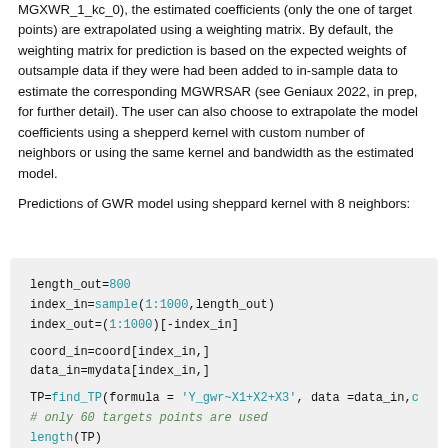MGXWR_1_kc_0), the estimated coefficients (only the one of target points) are extrapolated using a weighting matrix. By default, the weighting matrix for prediction is based on the expected weights of outsample data if they were had been added to in-sample data to estimate the corresponding MGWRSAR (see Geniaux 2022, in prep, for further detail). The user can also choose to extrapolate the model coefficients using a shepperd kernel with custom number of neighbors or using the same kernel and bandwidth as the estimated model.
Predictions of GWR model using sheppard kernel with 8 neighbors:
[Figure (screenshot): Code block showing R code: length_out=800, index_in=sample(1:1000, length_out), index_out=(1:1000)[-index_in], coord_in=coord[index_in,], data_in=mydata[index_in,], TP=find_TP(formula = 'Y_gwr~X1+X2+X3', data =data_in, ..., # only 60 targets points are used, length(TP)]